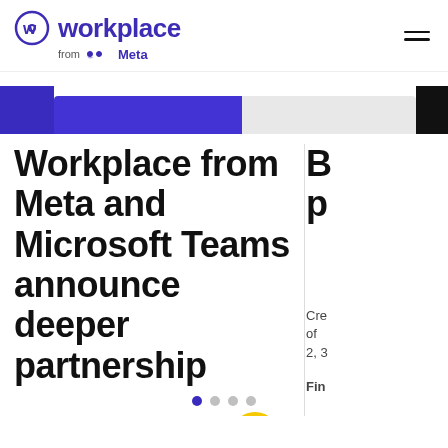workplace from Meta
[Figure (screenshot): Navigation banner with purple gradient progress bar and black right panel]
Workplace from Meta and Microsoft Teams announce deeper partnership
B p
Cre of 2, 3
Read the announcement
Fin